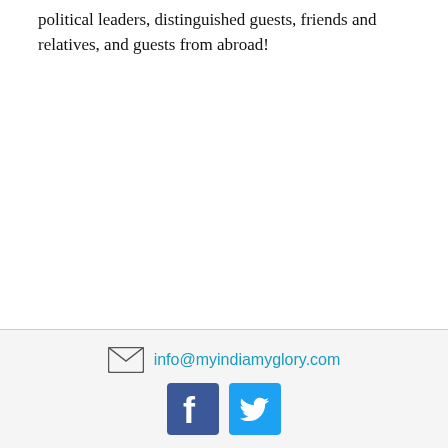political leaders, distinguished guests, friends and relatives, and guests from abroad!
Tina is the niece of Haryana's industrial minister,
info@myindiamyglory.com